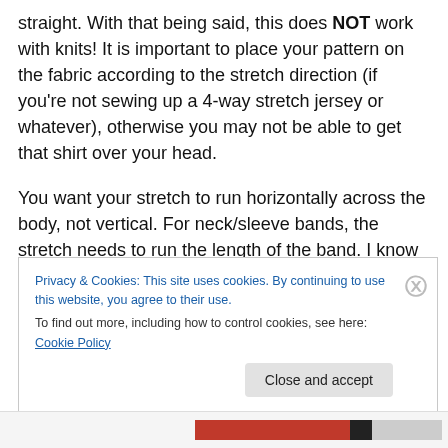straight. With that being said, this does NOT work with knits! It is important to place your pattern on the fabric according to the stretch direction (if you're not sewing up a 4-way stretch jersey or whatever), otherwise you may not be able to get that shirt over your head.
You want your stretch to run horizontally across the body, not vertical. For neck/sleeve bands, the stretch needs to run the length of the band. I know this sounds really “Well no shit, Sherlock” but you’d be amazed at how many failed knit projects I chucked in the trash due to not figuring out
Privacy & Cookies: This site uses cookies. By continuing to use this website, you agree to their use.
To find out more, including how to control cookies, see here: Cookie Policy